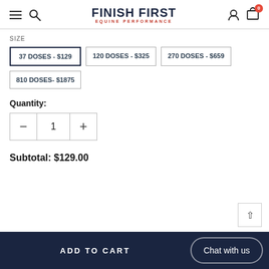FINISH FIRST EQUINE PERFORMANCE
SIZE
37 DOSES - $129
120 DOSES - $325
270 DOSES - $659
810 DOSES- $1875
Quantity:
1
Subtotal: $129.00
ADD TO CART
Chat with us